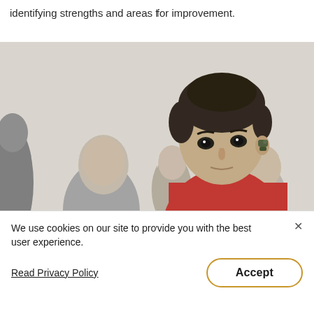identifying strengths and areas for improvement.
[Figure (photo): A boy in a red shirt wearing a hearing aid looks attentively, with other children seated in a classroom in the background.]
We use cookies on our site to provide you with the best user experience.
Read Privacy Policy
Accept